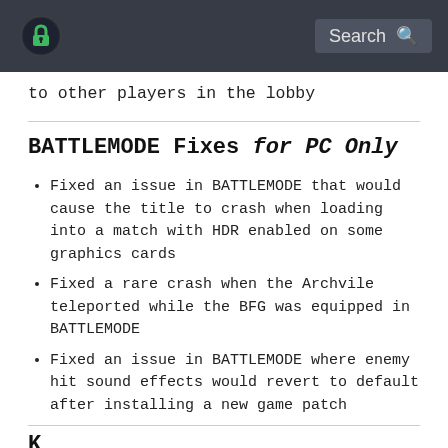[Logo] Search
to other players in the lobby
BATTLEMODE Fixes for PC Only
Fixed an issue in BATTLEMODE that would cause the title to crash when loading into a match with HDR enabled on some graphics cards
Fixed a rare crash when the Archvile teleported while the BFG was equipped in BATTLEMODE
Fixed an issue in BATTLEMODE where enemy hit sound effects would revert to default after installing a new game patch
K...